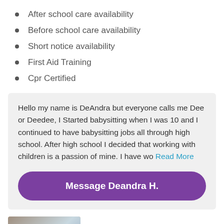After school care availability
Before school care availability
Short notice availability
First Aid Training
Cpr Certified
Hello my name is DeAndra but everyone calls me Dee or Deedee, I Started babysitting when I was 10 and I continued to have babysitting jobs all through high school. After high school I decided that working with children is a passion of mine. I have wo Read More
Message Deandra H.
[Figure (photo): Partial photo of a person at the bottom of the page]